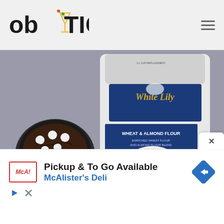[Figure (logo): ob TIC logo with martini glass icon, displayed in header]
[Figure (photo): White Lily Wheat & Almond Flour bag next to a cast iron skillet with chocolate brownie topped with marshmallows, and another brownie dish in foreground]
[Figure (other): Advertisement banner: McAlister's Deli - Pickup & To Go Available, with McAlister's Deli logo and navigation arrow icon]